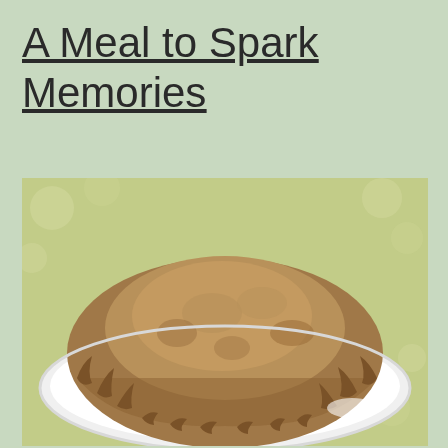A Meal to Spark Memories
[Figure (photo): A large baked pastry or calzone on a white plate, set on a floral patterned tablecloth. The pastry is golden-brown and rustic looking, with crimped/folded edges.]